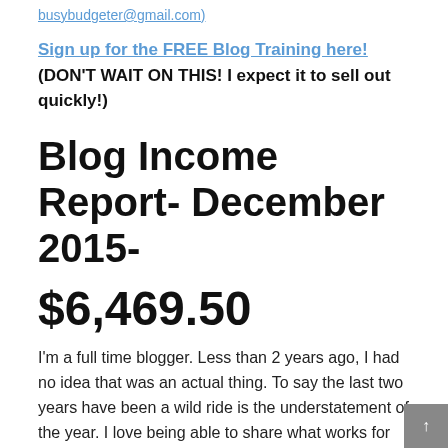busybudgeter@gmail.com)
Sign up for the FREE Blog Training here!
(DON'T WAIT ON THIS! I expect it to sell out quickly!)
Blog Income Report- December 2015-
$6,469.50
I'm a full time blogger. Less than 2 years ago, I had no idea that was an actual thing. To say the last two years have been a wild ride is the understatement of the year. I love being able to share what works for me and what doesn't in my blog income reports.